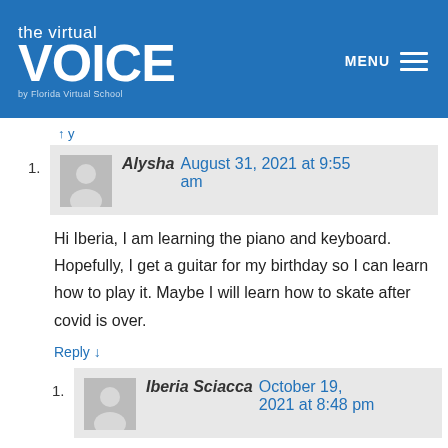the virtual VOICE by Florida Virtual School
Reply
Alysha  August 31, 2021 at 9:55 am
Hi Iberia, I am learning the piano and keyboard. Hopefully, I get a guitar for my birthday so I can learn how to play it. Maybe I will learn how to skate after covid is over.
Reply ↓
Iberia Sciacca  October 19, 2021 at 8:48 pm
Hi Alysha, I have not posted for a [continues…]